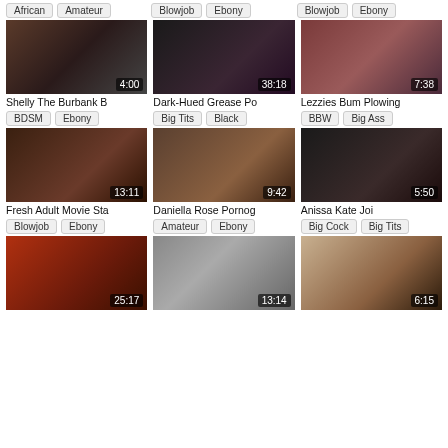African  Amateur
Blowjob  Ebony
Blowjob  Ebony
[Figure (screenshot): Video thumbnail with duration 4:00]
[Figure (screenshot): Video thumbnail with duration 38:18]
[Figure (screenshot): Video thumbnail with duration 7:38]
Shelly The Burbank B
Dark-Hued Grease Po
Lezzies Bum Plowing
BDSM  Ebony
Big Tits  Black
BBW  Big Ass
[Figure (screenshot): Video thumbnail with duration 13:11]
[Figure (screenshot): Video thumbnail with duration 9:42]
[Figure (screenshot): Video thumbnail with duration 5:50]
Fresh Adult Movie Sta
Daniella Rose Pornog
Anissa Kate Joi
Blowjob  Ebony
Amateur  Ebony
Big Cock  Big Tits
[Figure (screenshot): Video thumbnail with duration 25:17]
[Figure (screenshot): Video thumbnail with duration 13:14]
[Figure (screenshot): Video thumbnail with duration 6:15]